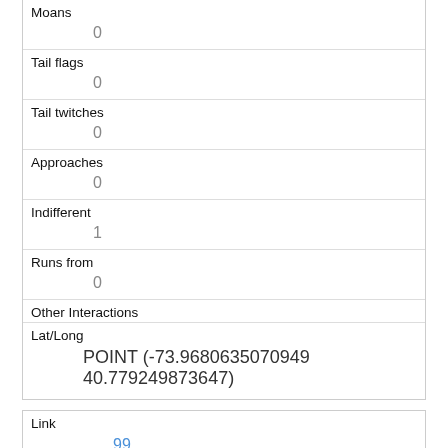| Moans | 0 |
| Tail flags | 0 |
| Tail twitches | 0 |
| Approaches | 0 |
| Indifferent | 1 |
| Runs from | 0 |
| Other Interactions |  |
| Lat/Long | POINT (-73.9680635070949 40.779249873647) |
| Link | 99 |
| rowid | 99 |